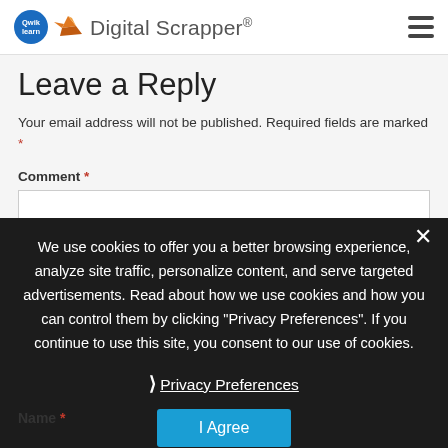Digital Scrapper
Leave a Reply
Your email address will not be published. Required fields are marked *
Comment *
We use cookies to offer you a better browsing experience, analyze site traffic, personalize content, and serve targeted advertisements. Read about how we use cookies and how you can control them by clicking "Privacy Preferences". If you continue to use this site, you consent to our use of cookies.
Privacy Preferences
I Agree
Name *